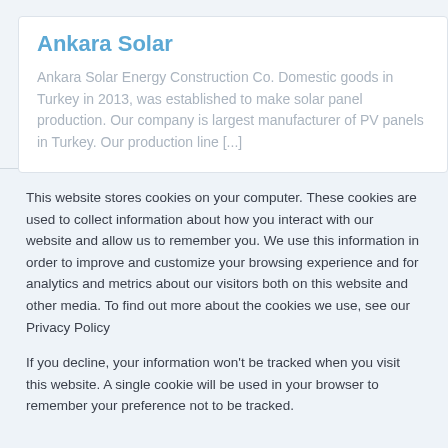Ankara Solar
Ankara Solar Energy Construction Co. Domestic goods in Turkey in 2013, was established to make solar panel production. Our company is largest manufacturer of PV panels in Turkey. Our production line [...]
This website stores cookies on your computer. These cookies are used to collect information about how you interact with our website and allow us to remember you. We use this information in order to improve and customize your browsing experience and for analytics and metrics about our visitors both on this website and other media. To find out more about the cookies we use, see our Privacy Policy
If you decline, your information won't be tracked when you visit this website. A single cookie will be used in your browser to remember your preference not to be tracked.
Accept
Decline